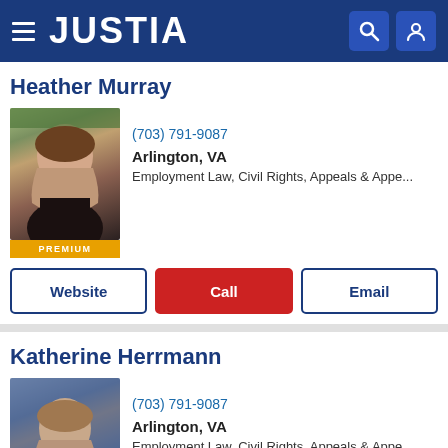JUSTIA
Heather Murray
(703) 791-9087
Arlington, VA
Employment Law, Civil Rights, Appeals & Appe...
[Figure (photo): Professional headshot of attorney Heather Murray with PREMIUM badge]
Website
Call
Email
Katherine Herrmann
(703) 791-9087
Arlington, VA
Employment Law, Civil Rights, Appeals & Appe...
[Figure (photo): Professional headshot of attorney Katherine Herrmann with PREMIUM badge]
Website
Call
Email